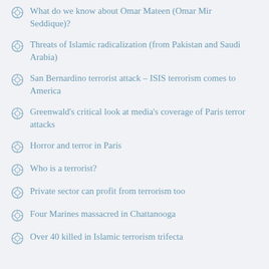What do we know about Omar Mateen (Omar Mir Seddique)?
Threats of Islamic radicalization (from Pakistan and Saudi Arabia)
San Bernardino terrorist attack – ISIS terrorism comes to America
Greenwald's critical look at media's coverage of Paris terror attacks
Horror and terror in Paris
Who is a terrorist?
Private sector can profit from terrorism too
Four Marines massacred in Chattanooga
Over 40 killed in Islamic terrorism trifecta